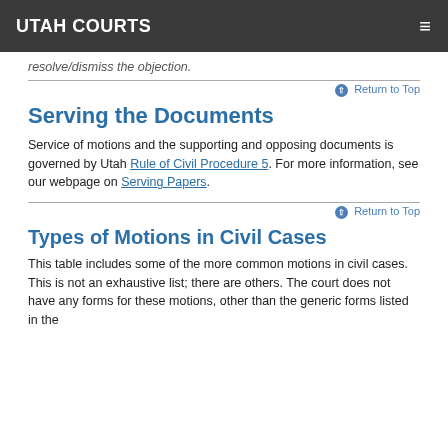UTAH COURTS
resolve/dismiss the objection.
Serving the Documents
Service of motions and the supporting and opposing documents is governed by Utah Rule of Civil Procedure 5. For more information, see our webpage on Serving Papers.
Types of Motions in Civil Cases
This table includes some of the more common motions in civil cases. This is not an exhaustive list; there are others. The court does not have any forms for these motions, other than the generic forms listed in the